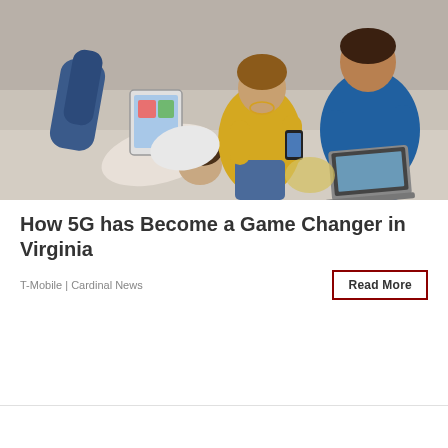[Figure (photo): A family sitting on a couch using various devices — a child with a tablet, a woman in yellow looking at a phone, and a man in blue using a laptop.]
How 5G has Become a Game Changer in Virginia
T-Mobile | Cardinal News